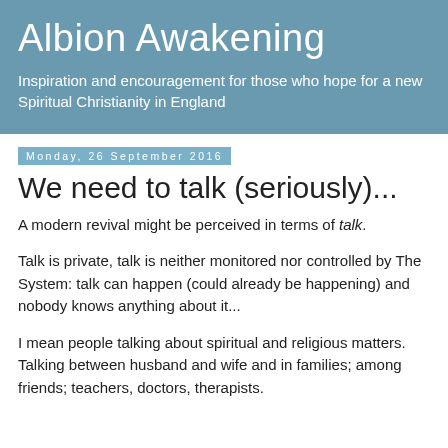Albion Awakening
Inspiration and encouragement for those who hope for a new Spiritual Christianity in England
Monday, 26 September 2016
We need to talk (seriously)...
A modern revival might be perceived in terms of talk.
Talk is private, talk is neither monitored nor controlled by The System: talk can happen (could already be happening) and nobody knows anything about it...
I mean people talking about spiritual and religious matters. Talking between husband and wife and in families; among friends; teachers, doctors, therapists.